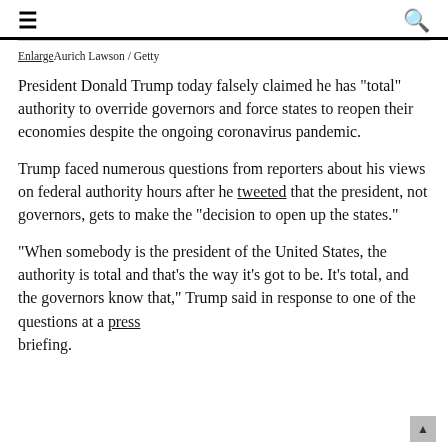≡  🔍
EnlargeAurich Lawson / Getty
President Donald Trump today falsely claimed he has "total" authority to override governors and force states to reopen their economies despite the ongoing coronavirus pandemic.
Trump faced numerous questions from reporters about his views on federal authority hours after he tweeted that the president, not governors, gets to make the "decision to open up the states."
"When somebody is the president of the United States, the authority is total and that's the way it's got to be. It's total, and the governors know that," Trump said in response to one of the questions at a press briefing.